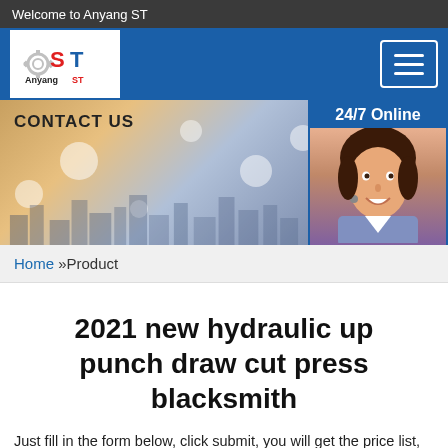Welcome to Anyang ST
[Figure (logo): Anyang ST company logo with gear icon and red ST letters]
[Figure (photo): Banner with cityscape background and CONTACT US label on left, 24/7 Online label and customer service agent photo on right]
Home »Product
2021 new hydraulic up punch draw cut press blacksmith
Just fill in the form below, click submit, you will get the price list, and we will contact you within one working day. Please also feel free to contact us via email or phone. (*
[Figure (photo): Chat panel with 'Click here for free chat!' text and QUOTATION button]